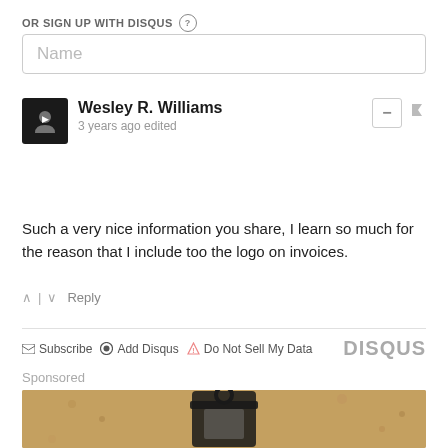OR SIGN UP WITH DISQUS ?
Name
Wesley R. Williams
3 years ago edited
Such a very nice information you share, I learn so much for the reason that I include too the logo on invoices.
^ | v  Reply
Subscribe  Add Disqus  Do Not Sell My Data    DISQUS
Sponsored
[Figure (photo): Sepia-toned photo of an outdoor wall lantern mounted on a stucco wall]